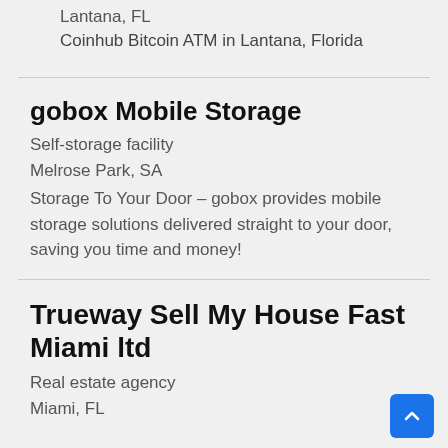Lantana, FL
Coinhub Bitcoin ATM in Lantana, Florida
gobox Mobile Storage
Self-storage facility
Melrose Park, SA
Storage To Your Door – gobox provides mobile storage solutions delivered straight to your door, saving you time and money!
Trueway Sell My House Fast Miami ltd
Real estate agency
Miami, FL